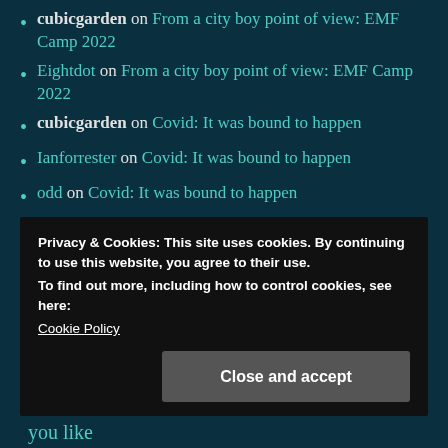cubicgarden on From a city boy point of view: EMF Camp 2022
Eightdot on From a city boy point of view: EMF Camp 2022
cubicgarden on Covid: It was bound to happen
Ianforrester on Covid: It was bound to happen
odd on Covid: It was bound to happen
agilelisa on Covid: It was bound to happen
Privacy & Cookies: This site uses cookies. By continuing to use this website, you agree to their use.
To find out more, including how to control cookies, see here: Cookie Policy
Close and accept
you like